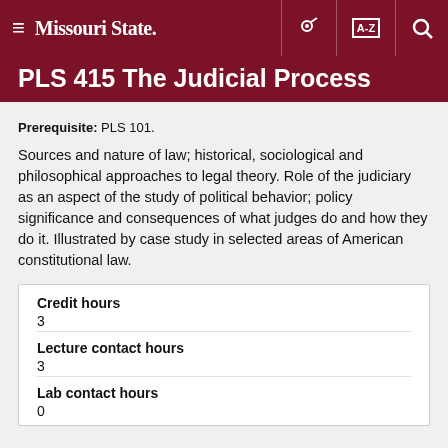Missouri State
PLS 415 The Judicial Process
Prerequisite: PLS 101.
Sources and nature of law; historical, sociological and philosophical approaches to legal theory. Role of the judiciary as an aspect of the study of political behavior; policy significance and consequences of what judges do and how they do it. Illustrated by case study in selected areas of American constitutional law.
| Field | Value |
| --- | --- |
| Credit hours | 3 |
| Lecture contact hours | 3 |
| Lab contact hours | 0 |